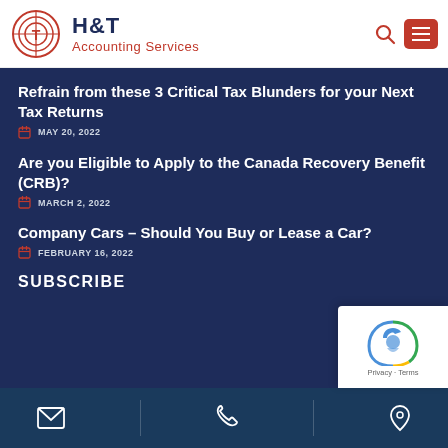H&T Accounting Services
Refrain from these 3 Critical Tax Blunders for your Next Tax Returns
MAY 20, 2022
Are you Eligible to Apply to the Canada Recovery Benefit (CRB)?
MARCH 2, 2022
Company Cars – Should You Buy or Lease a Car?
FEBRUARY 16, 2022
SUBSCRIBE
Email | Phone | Location